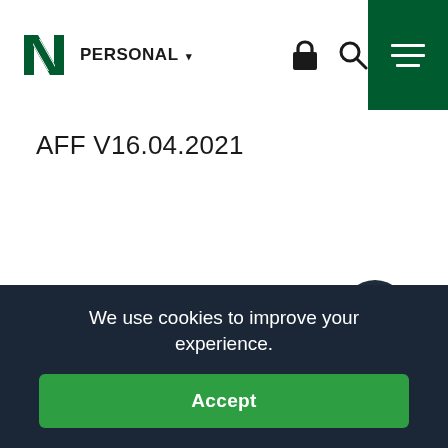PERSONAL
AFF V16.04.2021
We use cookies to improve your experience.
Accept